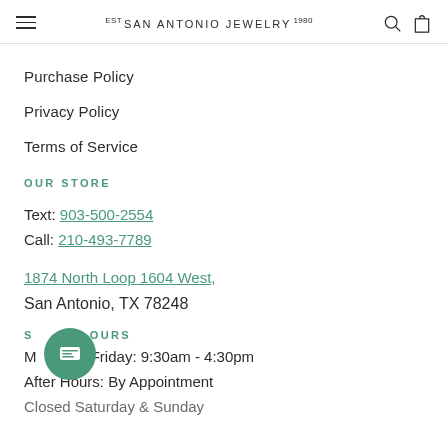est SAN ANTONIO JEWELRY 1980
Purchase Policy
Privacy Policy
Terms of Service
OUR STORE
Text: 903-500-2554
Call: 210-493-7789
1874 North Loop 1604 West,
San Antonio, TX 78248
STORE HOURS
Monday - Friday: 9:30am - 4:30pm
After Hours: By Appointment
Closed Saturday & Sunday